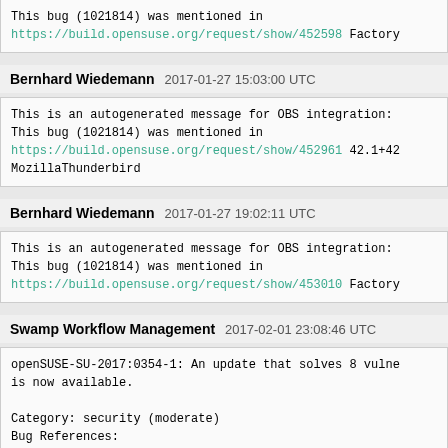This bug (1021814) was mentioned in https://build.opensuse.org/request/show/452598 Factory
Bernhard Wiedemann 2017-01-27 15:03:00 UTC
This is an autogenerated message for OBS integration: This bug (1021814) was mentioned in https://build.opensuse.org/request/show/452961 42.1+42 MozillaThunderbird
Bernhard Wiedemann 2017-01-27 19:02:11 UTC
This is an autogenerated message for OBS integration: This bug (1021814) was mentioned in https://build.opensuse.org/request/show/453010 Factory
Swamp Workflow Management 2017-02-01 23:08:46 UTC
openSUSE-SU-2017:0354-1: An update that solves 8 vulne is now available.

Category: security (moderate)
Bug References: